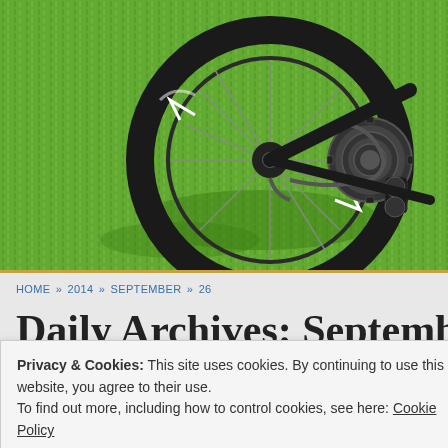[Figure (photo): Close-up photo of a black carbon road bicycle rear wheel and drivetrain (cassette, chain, derailleur) resting on bright green grass in sunlight.]
HOME » 2014 » SEPTEMBER » 26
Daily Archives: Septembe…
Privacy & Cookies: This site uses cookies. By continuing to use this website, you agree to their use.
To find out more, including how to control cookies, see here: Cookie Policy
Close and accept
with that phone and case, ridden through downpours with it in my back pocket…